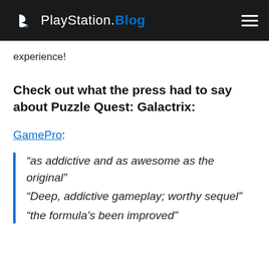PlayStation.Blog
experience!
Check out what the press had to say about Puzzle Quest: Galactrix:
GamePro:
“as addictive and as awesome as the original” “Deep, addictive gameplay; worthy sequel” “the formula’s been improved”